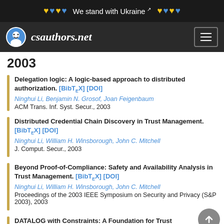We stand with Ukraine
csauthors.net
2003
Delegation logic: A logic-based approach to distributed authorization. [BibTeX] [DOI]
Ninghui Li, Benjamin N. Grosof, Joan Feigenbaum
ACM Trans. Inf. Syst. Secur., 2003
Distributed Credential Chain Discovery in Trust Management. [BibTeX] [DOI]
Ninghui Li, William H. Winsborough, John C. Mitchell
J. Comput. Secur., 2003
Beyond Proof-of-Compliance: Safety and Availability Analysis in Trust Management. [BibTeX] [DOI]
Ninghui Li, William H. Winsborough, John C. Mitchell
Proceedings of the 2003 IEEE Symposium on Security and Privacy (S&P 2003), 2003
DATALOG with Constraints: A Foundation for Trust